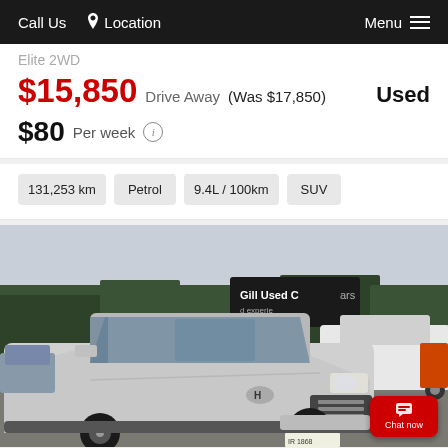Call Us   Location   Menu
Elite 2WD
$15,850 Drive Away  (Was $17,850)   Used
$80 Per week (i)
131,253 km   Petrol   9.4L / 100km   SUV
[Figure (photo): Silver Hyundai Tucson SUV parked at Gill Used Cars dealership lot, front three-quarter view, black alloy wheels, other cars visible in background, trees and sky in background.]